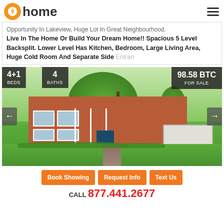home (Bitcoin Home logo)
Opportunity In Lakeview, Huge Lot In Great Neighbourhood. Live In The Home Or Build Your Dream Home!! Spacious 5 Level Backsplit. Lower Level Has Kitchen, Bedroom, Large Living Area, Huge Cold Room And Separate Side Entran
[Figure (photo): Exterior photo of a brick two-storey residential home with white trim, large tree in foreground, attached garage, and landscaped lawn. Overlaid badges show 4+1 beds, 4 baths, and 98.58 BTC For Sale.]
Book Showing | Request Info | Text Us
CALL 877.441.2677